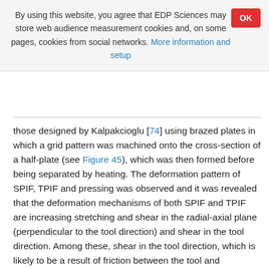By using this website, you agree that EDP Sciences may store web audience measurement cookies and, on some pages, cookies from social networks. More information and setup
those designed by Kalpakcioglu [74] using brazed plates in which a grid pattern was machined onto the cross-section of a half-plate (see Figure 45), which was then formed before being separated by heating. The deformation pattern of SPIF, TPIF and pressing was observed and it was revealed that the deformation mechanisms of both SPIF and TPIF are increasing stretching and shear in the radial-axial plane (perpendicular to the tool direction) and shear in the tool direction. Among these, shear in the tool direction, which is likely to be a result of friction between the tool and workpiece, is the most significant strain component. Silva et al. [75] studied the